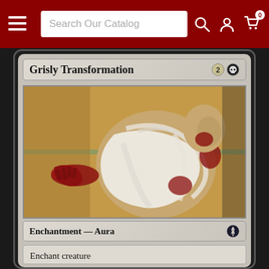[Figure (screenshot): Website navigation bar with hamburger menu, search box reading 'Search Our Catalog', search icon, user account icon, and shopping cart icon with badge showing 0]
[Figure (illustration): Magic: The Gathering card named 'Grisly Transformation'. Card art shows a gruesome figure wrapped in bloody bandages/cloth, hunched over against a wall. Card details: Mana cost 2B (2 generic + 1 black), Type: Enchantment — Aura with black set symbol. Text box reads: Enchant creature / When Grisly Transformation enters the battlefield, draw a card]